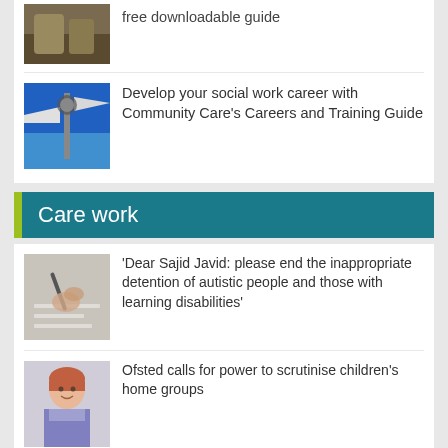[Figure (photo): Partial image of a road/field scene (top clipped)]
free downloadable guide
[Figure (photo): Blue sky with signpost/crossroads directional signs]
Develop your social work career with Community Care's Careers and Training Guide
Care work
[Figure (photo): Person writing with a pen on paper]
'Dear Sajid Javid: please end the inappropriate detention of autistic people and those with learning disabilities'
[Figure (photo): Woman with short red hair smiling, wearing a purple scarf]
Ofsted calls for power to scrutinise children's home groups
[Figure (photo): Person (partially visible) at bottom of page]
Seven in eight commissioners paying below